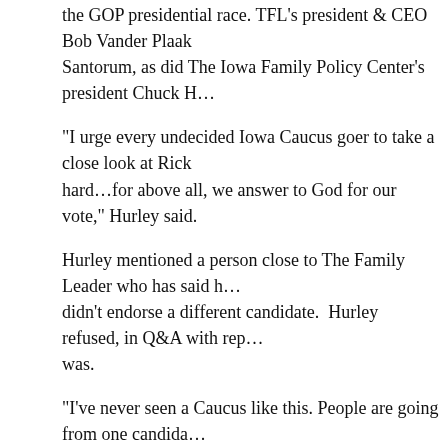the GOP presidential race. TFL's president & CEO Bob Vander Plaats endorsed Santorum, as did The Iowa Family Policy Center's president Chuck H…
“I urge every undecided Iowa Caucus goer to take a close look at Rick… hard…for above all, we answer to God for our vote,” Hurley said.
Hurley mentioned a person close to The Family Leader who has said h… didn’t endorse a different candidate. Hurley refused, in Q&A with rep… was.
“I’ve never seen a Caucus like this. People are going from one candida… period…so a voice of endorsement may have an impact,” BVP said.
Both BVP & Hurley suggest one or two “pro-family” candidates shou… a conservative “could quickly vaunt into first place and win the nomin…
“It depends on the humble heart of the individuals,” Hurley said of the…
BVP said his endorsement & Hurley’s gives a “stamp of credibility” t…
Listen to of AUDIO the 33-minute news conference.